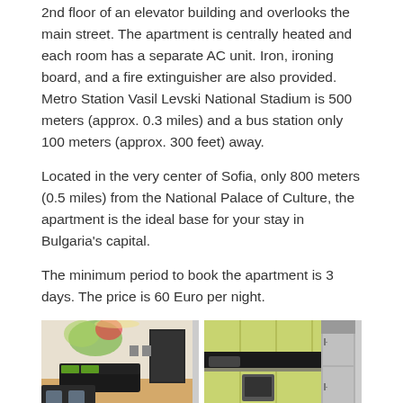2nd floor of an elevator building and overlooks the main street. The apartment is centrally heated and each room has a separate AC unit. Iron, ironing board, and a fire extinguisher are also provided. Metro Station Vasil Levski National Stadium is 500 meters (approx. 0.3 miles) and a bus station only 100 meters (approx. 300 feet) away.
Located in the very center of Sofia, only 800 meters (0.5 miles) from the National Palace of Culture, the apartment is the ideal base for your stay in Bulgaria’s capital.
The minimum period to book the apartment is 3 days. The price is 60 Euro per night.
[Figure (photo): Two apartment interior photos side by side: left shows living/dining area with green accents and dark furniture; right shows kitchen with light green cabinets and stainless refrigerator.]
[Figure (photo): Two more apartment interior photos, partially visible at bottom of page.]